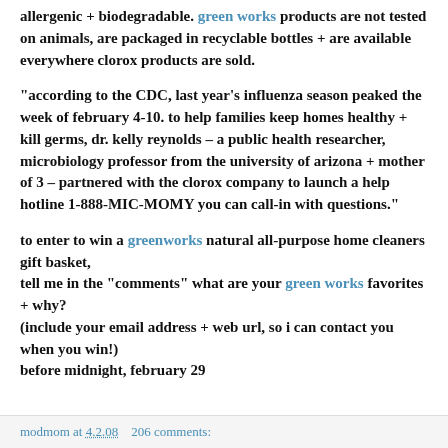allergenic + biodegradable. green works products are not tested on animals, are packaged in recyclable bottles + are available everywhere clorox products are sold.
"according to the CDC, last year's influenza season peaked the week of february 4-10. to help families keep homes healthy + kill germs, dr. kelly reynolds – a public health researcher, microbiology professor from the university of arizona + mother of 3 – partnered with the clorox company to launch a help hotline 1-888-MIC-MOMY you can call-in with questions."
to enter to win a greenworks natural all-purpose home cleaners gift basket,
tell me in the "comments" what are your green works favorites + why?
(include your email address + web url, so i can contact you when you win!)
before midnight, february 29
modmom at 4.2.08   206 comments: